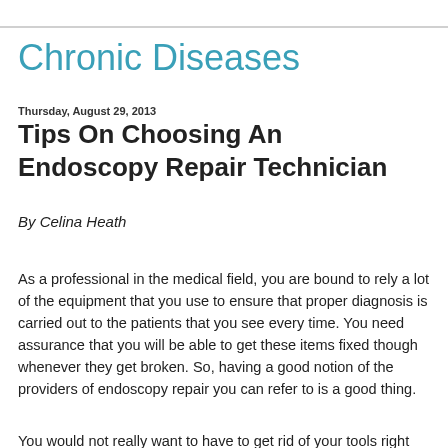Chronic Diseases
Thursday, August 29, 2013
Tips On Choosing An Endoscopy Repair Technician
By Celina Heath
As a professional in the medical field, you are bound to rely a lot of the equipment that you use to ensure that proper diagnosis is carried out to the patients that you see every time. You need assurance that you will be able to get these items fixed though whenever they get broken. So, having a good notion of the providers of endoscopy repair you can refer to is a good thing.
You would not really want to have to get rid of your tools right